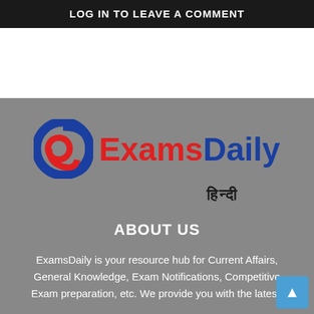LOG IN TO LEAVE A COMMENT
[Figure (logo): ExamsDaily Hindi logo — circular red and blue swirl icon beside 'ExamsDaily' text in red and blue, with Hindi text 'हिन्दी' below]
ABOUT US
ExamsDaily is your resource hub for Current Affairs, General Knowledge, Exam Notifications, Competitive Exam preparation, etc. We provide you with the latest.